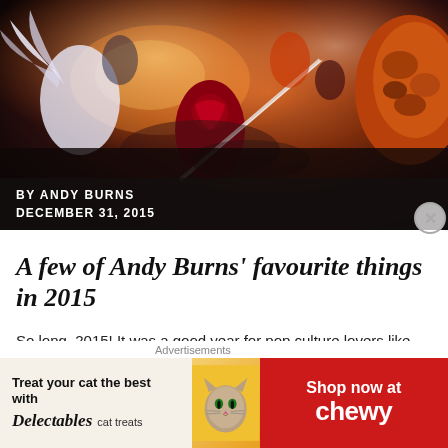[Figure (illustration): Comic book superhero battle scene with multiple characters fighting, including a spider-themed character in center and a rocky orange character on right, with explosions and action]
BY ANDY BURNS
DECEMBER 31, 2015
A few of Andy Burns' favourite things in 2015
So long, 2015! It was a good year for pop culture lovers like you and I, and to see it out, I thought I'd share a list of a few ...
CONTINUE READING
Advertisements
[Figure (photo): Chewy pet store advertisement banner: 'Treat your cat the best with Delectables cat treats' on left with cat photo in center, 'Shop now at chewy' on red right side]